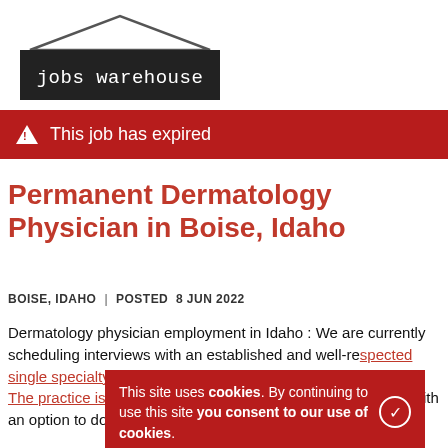[Figure (logo): Jobs Warehouse logo: dark trapezoid/house shape with white text 'jobs warehouse' in monospace font]
This job has expired
Permanent Dermatology Physician in Boise, Idaho
BOISE, IDAHO | POSTED 8 JUN 2022
Dermatology physician employment in Idaho : We are currently scheduling interviews with an established and well-respected single specialty Dermatology practice located in Boise, Idaho. The practice is a Dermatology practice general dermatology, with an option to do cosmetics.* Practice Details** Busy practice
This site uses cookies. By continuing to use this site you consent to our use of cookies.